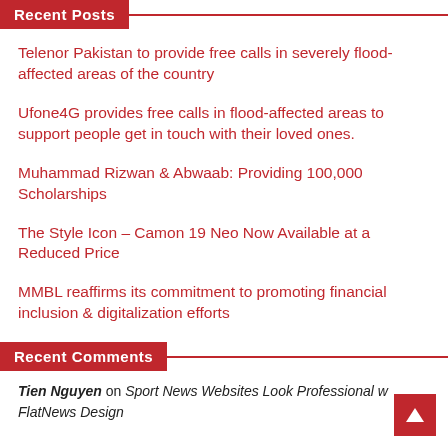Recent Posts
Telenor Pakistan to provide free calls in severely flood-affected areas of the country
Ufone4G provides free calls in flood-affected areas to support people get in touch with their loved ones.
Muhammad Rizwan & Abwaab: Providing 100,000 Scholarships
The Style Icon – Camon 19 Neo Now Available at a Reduced Price
MMBL reaffirms its commitment to promoting financial inclusion & digitalization efforts
Recent Comments
Tien Nguyen on Sport News Websites Look Professional w FlatNews Design